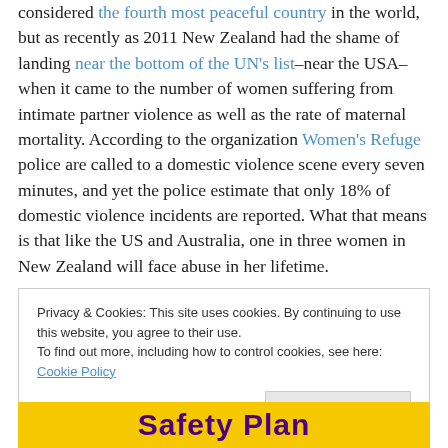considered the fourth most peaceful country in the world, but as recently as 2011 New Zealand had the shame of landing near the bottom of the UN's list–near the USA–when it came to the number of women suffering from intimate partner violence as well as the rate of maternal mortality. According to the organization Women's Refuge police are called to a domestic violence scene every seven minutes, and yet the police estimate that only 18% of domestic violence incidents are reported. What that means is that like the US and Australia, one in three women in New Zealand will face abuse in her lifetime.
Privacy & Cookies: This site uses cookies. By continuing to use this website, you agree to their use. To find out more, including how to control cookies, see here: Cookie Policy
[Figure (other): Safety Plan banner in yellow background with purple bold text]